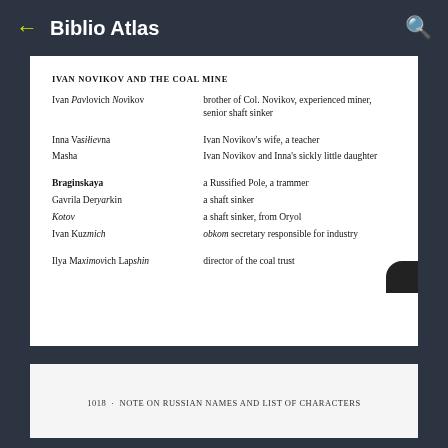Biblio Atlas
IVAN NOVIKOV AND THE COAL MINE
Ivan Pavlovich Novikov — brother of Col. Novikov, experienced miner, senior shaft sinker
Inna Vasilievna — Ivan Novikov's wife, a teacher
Masha — Ivan Novikov and Inna's sickly little daughter
Braginskaya — a Russified Pole, a trammer
Gavrila Deryarkin — a shaft sinker
Kotov — a shaft sinker, from Oryol
Ivan Kuzmich — obkom secretary responsible for industry
Ilya Maximovich Lapshin — director of the coal trust
1018  ·  NOTE ON RUSSIAN NAMES AND LIST OF CHARACTERS